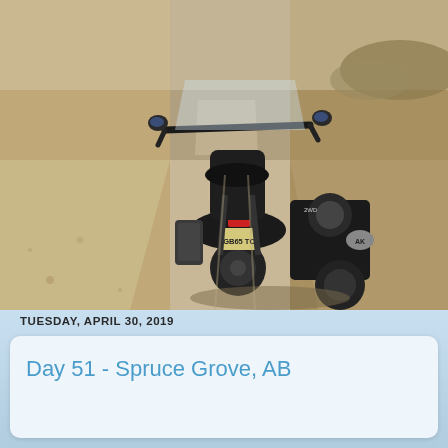[Figure (photo): Rear view of a motorcycle with Alaska license plate (GB65 TC) and 2WD sidecar with AK sticker, parked on a wide dusty gravel road stretching into the distance, photographed from directly behind.]
TUESDAY, APRIL 30, 2019
Day 51 - Spruce Grove, AB